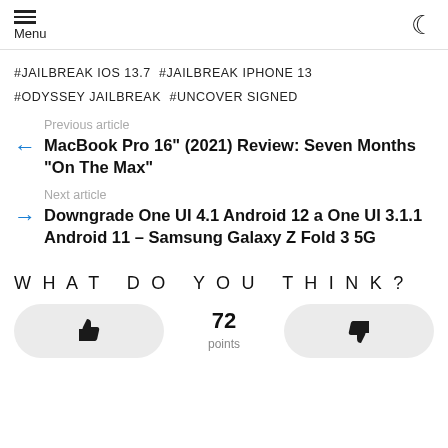Menu
#JAILBREAK IOS 13.7 #JAILBREAK IPHONE 13 #ODYSSEY JAILBREAK #UNCOVER SIGNED
Previous article
MacBook Pro 16" (2021) Review: Seven Months "On The Max"
Next article
Downgrade One UI 4.1 Android 12 a One UI 3.1.1 Android 11 – Samsung Galaxy Z Fold 3 5G
WHAT DO YOU THINK?
72 points